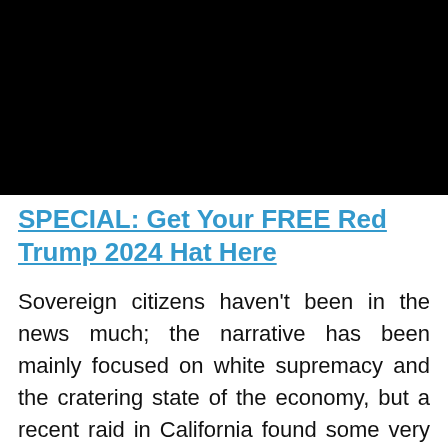[Figure (photo): Large black rectangle occupying the top portion of the page, likely a video thumbnail or image placeholder.]
SPECIAL: Get Your FREE Red Trump 2024 Hat Here
Sovereign citizens haven't been in the news much; the narrative has been mainly focused on white supremacy and the cratering state of the economy, but a recent raid in California found some very surprising things.